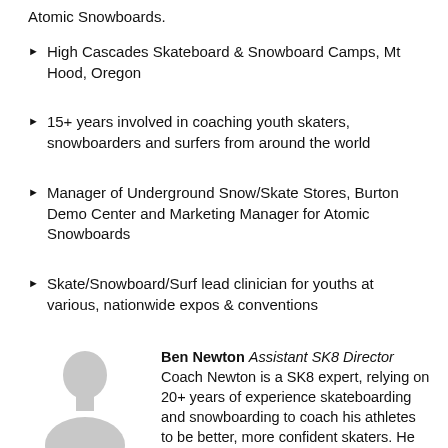Atomic Snowboards.
High Cascades Skateboard & Snowboard Camps, Mt Hood, Oregon
15+ years involved in coaching youth skaters, snowboarders and surfers from around the world
Manager of Underground Snow/Skate Stores, Burton Demo Center and Marketing Manager for Atomic Snowboards
Skate/Snowboard/Surf lead clinician for youths at various, nationwide expos & conventions
Ben Newton Assistant SK8 Director
Coach Newton is a SK8 expert, relying on 20+ years of experience skateboarding and snowboarding to coach his athletes to be better, more confident skaters. He also coaches skating and snowboarding at Waterville Valley Camp and